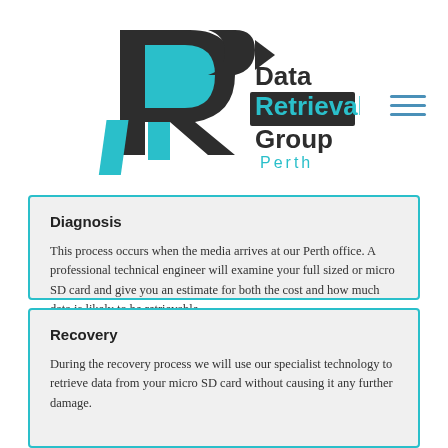[Figure (logo): Data Retrieval Group Perth logo — stylized R/P letter mark in dark charcoal and cyan/blue, with text 'Data Retrieval Group Perth' alongside]
Diagnosis
This process occurs when the media arrives at our Perth office. A professional technical engineer will examine your full sized or micro SD card and give you an estimate for both the cost and how much data is likely to be retrievable.
Recovery
During the recovery process we will use our specialist technology to retrieve data from your micro SD card without causing it any further damage.